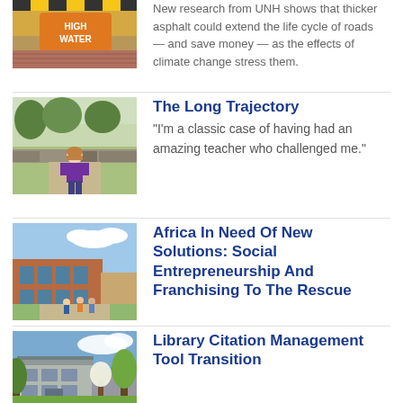[Figure (photo): High water sign on a flooded road with brick path visible]
New research from UNH shows that thicker asphalt could extend the life cycle of roads — and save money — as the effects of climate change stress them.
[Figure (photo): Young woman smiling outdoors on a campus walkway with stone wall]
The Long Trajectory
"I'm a classic case of having had an amazing teacher who challenged me."
[Figure (photo): Campus building exterior with students walking outside on a sunny day]
Africa In Need Of New Solutions: Social Entrepreneurship And Franchising To The Rescue
[Figure (photo): Campus library building exterior with trees in bloom]
Library Citation Management Tool Transition